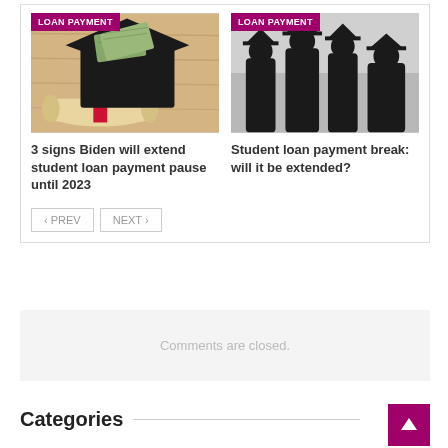[Figure (photo): Photo of graduation cap with money and diploma scroll tied with red ribbon]
[Figure (photo): Silhouette photo of graduates in graduation caps against light background]
3 signs Biden will extend student loan payment pause until 2023
Student loan payment break: will it be extended?
Comments are closed.
Categories